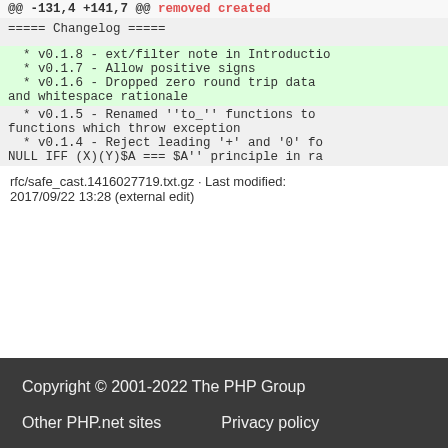@@ -131,4 +141,7 @@ removed created
===== Changelog =====
* v0.1.8 - ext/filter note in Introductio
    * v0.1.7 - Allow positive signs
    * v0.1.6 - Dropped zero round trip data and whitespace rationale
* v0.1.5 - Renamed ''to_'' functions to functions which throw exception
* v0.1.4 - Reject leading '+' and '0' fo NULL IFF (X)(Y)$A === $A'' principle in ra
rfc/safe_cast.1416027719.txt.gz · Last modified: 2017/09/22 13:28 (external edit)
Copyright © 2001-2022 The PHP Group
Other PHP.net sites    Privacy policy